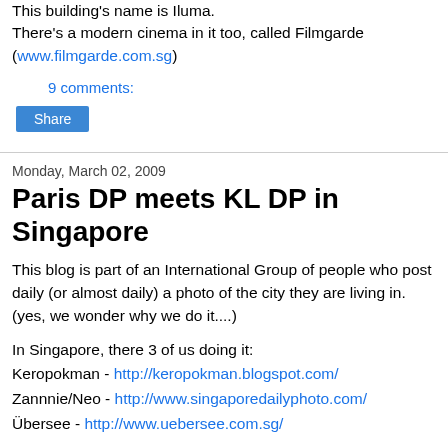This building's name is Iluma.
There's a modern cinema in it too, called Filmgarde (www.filmgarde.com.sg)
9 comments:
Share
Monday, March 02, 2009
Paris DP meets KL DP in Singapore
This blog is part of an International Group of people who post daily (or almost daily) a photo of the city they are living in. (yes, we wonder why we do it....)
In Singapore, there 3 of us doing it:
Keropokman - http://keropokman.blogspot.com/
Zannnie/Neo - http://www.singaporedailyphoto.com/
Übersee - http://www.uebersee.com.sg/
This Daily Photo thingy was started by Eric of Paris Daily Photo...